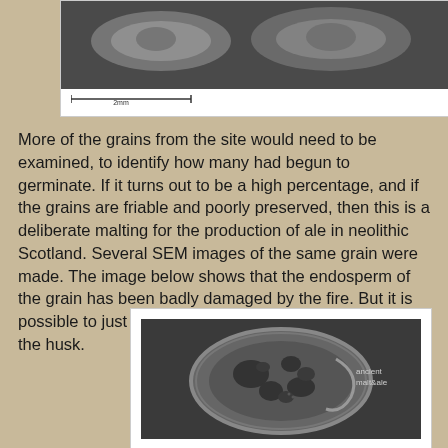[Figure (photo): Top portion of a microscope/SEM image panel showing grain specimens in black and white, with a scale bar below]
More of the grains from the site would need to be examined, to identify how many had begun to germinate. If it turns out to be a high percentage, and if the grains are friable and poorly preserved, then this is a deliberate malting for the production of ale in neolithic Scotland. Several SEM images of the same grain were made. The image below shows that the endosperm of the grain has been badly damaged by the fire. But it is possible to just about see the aleurone layer, beneath the husk.
[Figure (photo): SEM (Scanning Electron Microscope) image of a grain cross-section showing damaged endosperm and aleurone layer beneath the husk. The grain appears porous and damaged. Watermark text reads 'ancient malt&ale']